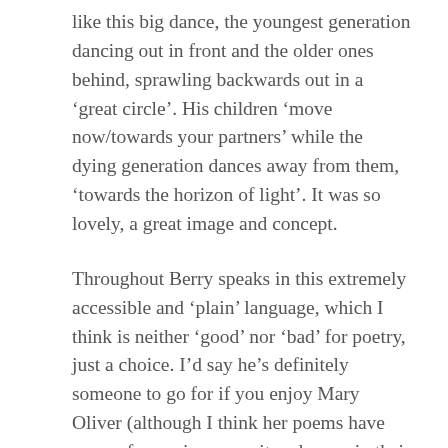like this big dance, the youngest generation dancing out in front and the older ones behind, sprawling backwards out in a 'great circle'. His children 'move now/towards your partners' while the dying generation dances away from them, 'towards the horizon of light'. It was so lovely, a great image and concept.
Throughout Berry speaks in this extremely accessible and 'plain' language, which I think is neither 'good' nor 'bad' for poetry, just a choice. I'd say he's definitely someone to go for if you enjoy Mary Oliver (although I think her poems have more of a sassiness, a wit and a pep in their step than these poems).
I'd also suggest to give him a go if you enjoy Rupi Kaur (some of his shorter poems actually made me think of her, although they deal with different themes, the format was reminiscent of hers). For those who don't know who that is, Kaur is a poet who became famous on Instagram and has